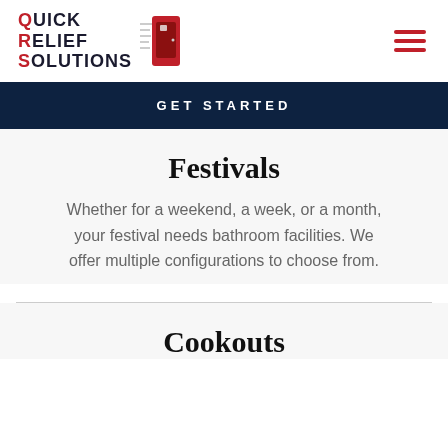[Figure (logo): Quick Relief Solutions logo with red text and portable toilet icon]
GET STARTED
Festivals
Whether for a weekend, a week, or a month, your festival needs bathroom facilities. We offer multiple configurations to choose from.
Cookouts